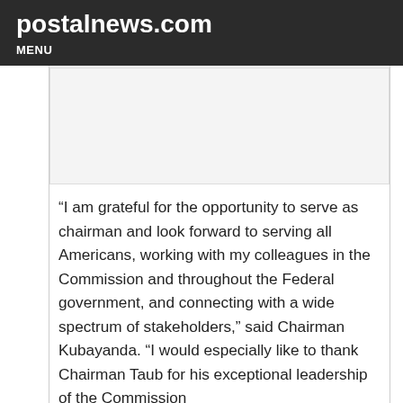postalnews.com
MENU
[Figure (other): Advertisement placeholder area]
“I am grateful for the opportunity to serve as chairman and look forward to serving all Americans, working with my colleagues in the Commission and throughout the Federal government, and connecting with a wide spectrum of stakeholders,” said Chairman Kubayanda. “I would especially like to thank Chairman Taub for his exceptional leadership of the Commission